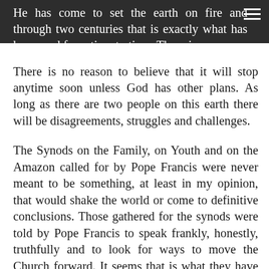He has come to set the earth on fire and through two centuries that is exactly what has happened from time to time. There is no reason to believe that it will stop anytime soon unless God has other plans. As long as there are two people on this earth there will be disagreements, struggles and challenges.
The Synods on the Family, on Youth and on the Amazon called for by Pope Francis were never meant to be something, at least in my opinion, that would shake the world or come to definitive conclusions. Those gathered for the synods were told by Pope Francis to speak frankly, honestly, truthfully and to look for ways to move the Church forward. It seems that is what they have been doing. Hopefully people gathered have been listening to one another. Hopefully during the synods people have been expressing their opinions, listening to each other and trying to formulate documents that will reflect thoughts, feelings but most importantly the work of the